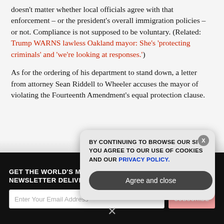doesn't matter whether local officials agree with that enforcement – or the president's overall immigration policies – or not. Compliance is not supposed to be voluntary. (Related: Trump WARNS lawless Oakland mayor: She's 'protecting criminals' and 'we're looking at responses.')
As for the ordering of his department to stand down, a letter from attorney Sean Riddell to Wheeler accuses the mayor of violating the Fourteenth Amendment's equal protection clause.
GET THE WORLD'S MOST INDEPENDENT MEDIA NEWSLETTER DELIVERED STRAIGHT TO YOUR INBOX.
BY CONTINUING TO BROWSE OUR SITE YOU AGREE TO OUR USE OF COOKIES AND OUR PRIVACY POLICY.
Agree and close